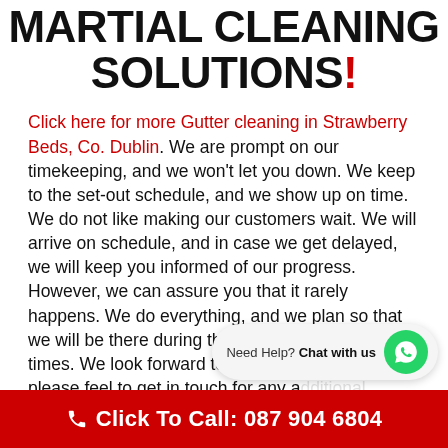MARTIAL CLEANING SOLUTIONS!
Click here for more Gutter cleaning in Strawberry Beds, Co. Dublin. We are prompt on our timekeeping, and we won't let you down. We keep to the set-out schedule, and we show up on time. We do not like making our customers wait. We will arrive on schedule, and in case we get delayed, we will keep you informed of our progress. However, we can assure you that it rarely happens. We do everything, and we plan so that we will be there during the scheduled appointment times. We look forward to hearing from you, and please feel to get in touch for any ad... you have on any gutter cleaning queries or to book your
Click To Call: 087 904 6804